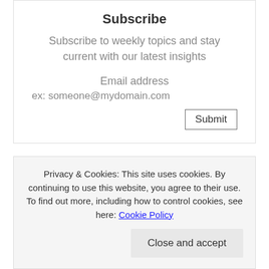Subscribe
Subscribe to weekly topics and stay current with our latest insights
Email address
ex: someone@mydomain.com
Submit
Privacy & Cookies: This site uses cookies. By continuing to use this website, you agree to their use.
To find out more, including how to control cookies, see here: Cookie Policy
Close and accept